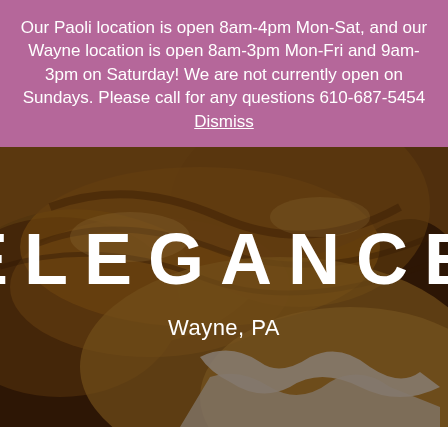Our Paoli location is open 8am-4pm Mon-Sat, and our Wayne location is open 8am-3pm Mon-Fri and 9am-3pm on Saturday! We are not currently open on Sundays. Please call for any questions 610-687-5454 Dismiss
[Figure (photo): Background photo of baked pastries with icing and golden-brown crust, with a dark overlay. The store name ELEGANCE and location Wayne, PA are displayed prominently in white text over the image.]
ELEGANCE
Wayne, PA